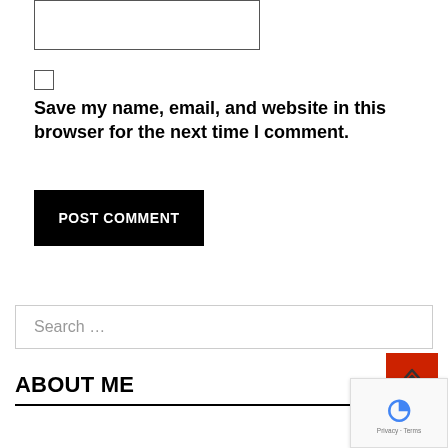[Figure (screenshot): Text area input box (partially visible at top)]
[Figure (screenshot): Checkbox input element]
Save my name, email, and website in this browser for the next time I comment.
[Figure (screenshot): POST COMMENT button (black background, white text)]
[Figure (screenshot): Search input field with placeholder text 'Search ...']
ABOUT ME
[Figure (screenshot): Back to top button (red square with up chevron)]
[Figure (screenshot): reCAPTCHA badge with Privacy and Terms links]